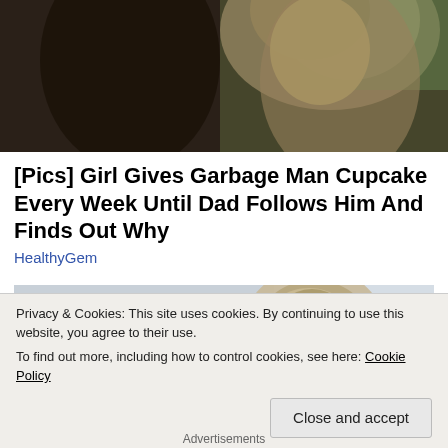[Figure (photo): Close-up photo of a man and a young girl, partial faces visible, outdoor setting]
[Pics] Girl Gives Garbage Man Cupcake Every Week Until Dad Follows Him And Finds Out Why
HealthyGem
[Figure (photo): Photo of a young child and an older woman with grey curly hair looking at each other]
Privacy & Cookies: This site uses cookies. By continuing to use this website, you agree to their use.
To find out more, including how to control cookies, see here: Cookie Policy
Close and accept
Advertisements